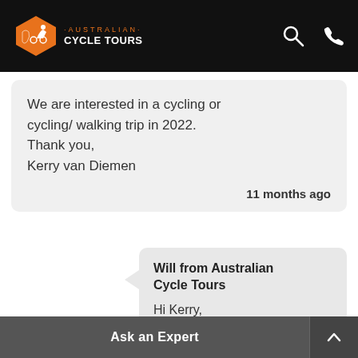Australian Cycle Tours - logo and navigation header
We are interested in a cycling or cycling/ walking trip in 2022. Thank you, Kerry van Diemen
11 months ago
Will from Australian Cycle Tours
Hi Kerry,
Thanks for getting in touch. UTracks credits can be used on Australian Cycle Tours trips. We've contacted you
Ask an Expert